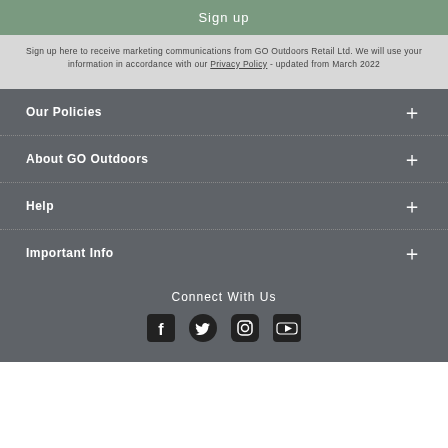Sign up
Sign up here to receive marketing communications from GO Outdoors Retail Ltd. We will use your information in accordance with our Privacy Policy - updated from March 2022
Our Policies
About GO Outdoors
Help
Important Info
Connect With Us
[Figure (other): Social media icons: Facebook, Twitter, Instagram, YouTube]